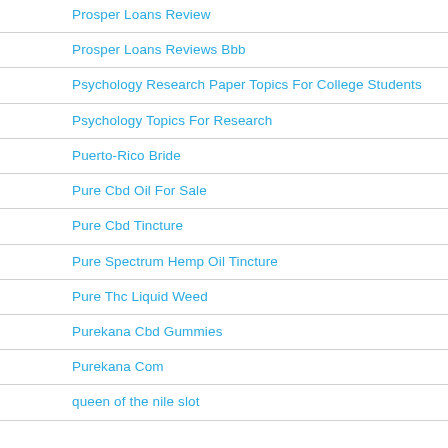Prosper Loans Review
Prosper Loans Reviews Bbb
Psychology Research Paper Topics For College Students
Psychology Topics For Research
Puerto-Rico Bride
Pure Cbd Oil For Sale
Pure Cbd Tincture
Pure Spectrum Hemp Oil Tincture
Pure Thc Liquid Weed
Purekana Cbd Gummies
Purekana Com
queen of the nile slot